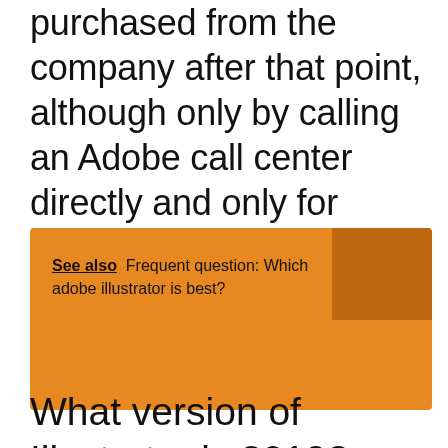purchased from the company after that point, although only by calling an Adobe call center directly and only for older operating systems. Looking for Creative Suite 6?
[Figure (other): Orange banner box with darker orange square in top-right corner, containing 'See also Frequent question: Which adobe illustrator is best?']
What version of Illustrator is 2019?